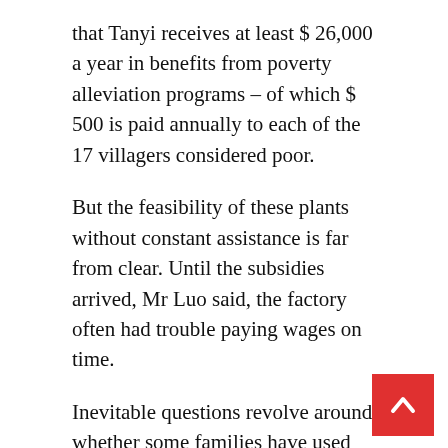that Tanyi receives at least $ 26,000 a year in benefits from poverty alleviation programs – of which $ 500 is paid annually to each of the 17 villagers considered poor.
But the feasibility of these plants without constant assistance is far from clear. Until the subsidies arrived, Mr Luo said, the factory often had trouble paying wages on time.
Inevitable questions revolve around whether some families have used personal connections with local officials to qualify for the grants. According to official statistics, corruption investigators punished 99,000 people across the country in connection with poverty relief efforts last year. In local restaurants in communities like Mayingzhen, w a large platter of fried donkey costs $ 7, the talk is